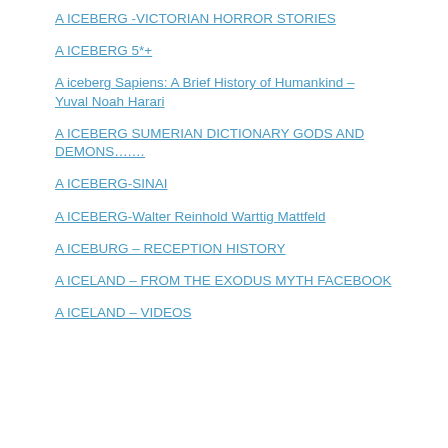A ICEBERG -VICTORIAN HORROR STORIES
A ICEBERG 5*+
A iceberg Sapiens: A Brief History of Humankind – Yuval Noah Harari
A ICEBERG SUMERIAN DICTIONARY GODS AND DEMONS….…
A ICEBERG-SINAI
A ICEBERG-Walter Reinhold Warttig Mattfeld
A ICEBURG – RECEPTION HISTORY
A ICELAND – FROM THE EXODUS MYTH FACEBOOK
A ICELAND – VIDEOS